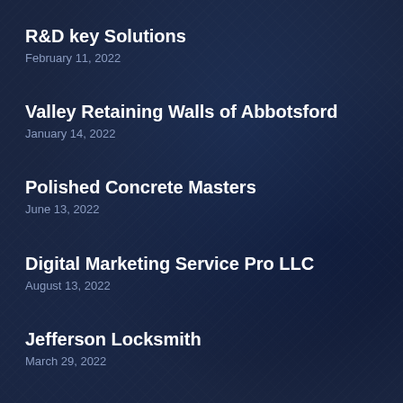R&D key Solutions
February 11, 2022
Valley Retaining Walls of Abbotsford
January 14, 2022
Polished Concrete Masters
June 13, 2022
Digital Marketing Service Pro LLC
August 13, 2022
Jefferson Locksmith
March 29, 2022